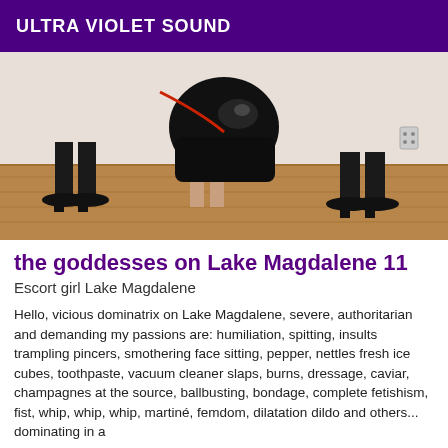ULTRA VIOLET SOUND
[Figure (photo): Two figures in black latex/leather outfits and high heels on a wooden floor interior setting]
the goddesses on Lake Magdalene 11
Escort girl Lake Magdalene
Hello, vicious dominatrix on Lake Magdalene, severe, authoritarian and demanding my passions are: humiliation, spitting, insults trampling pincers, smothering face sitting, pepper, nettles fresh ice cubes, toothpaste, vacuum cleaner slaps, burns, dressage, caviar, champagnes at the source, ballbusting, bondage, complete fetishism, fist, whip, whip, whip, martiné, femdom, dilatation dildo and others... dominating in a